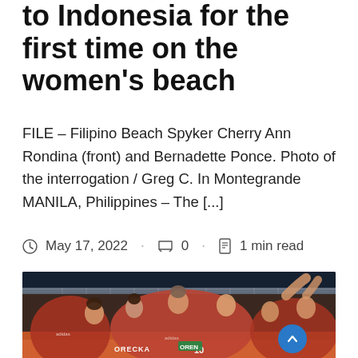to Indonesia for the first time on the women's beach
FILE – Filipino Beach Spyker Cherry Ann Rondina (front) and Bernadette Ponce. Photo of the interrogation / Greg C. In Montegrande MANILA, Philippines – The [...]
May 17, 2022 · 0 · 1 min read
[Figure (photo): Women's volleyball team players in red jerseys celebrating together on court, with visible jersey names including ORECKA and number 10, adidas logos visible]